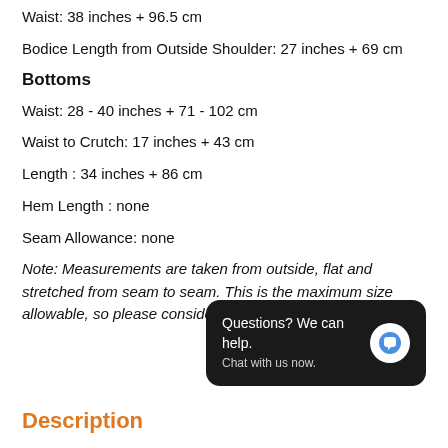Waist: 38 inches + 96.5 cm
Bodice Length from Outside Shoulder: 27 inches + 69 cm
Bottoms
Waist: 28 - 40 inches + 71 - 102 cm
Waist to Crutch: 17 inches + 43 cm
Length : 34 inches + 86 cm
Hem Length : none
Seam Allowance: none
Note: Measurements are taken from outside, flat and stretched from seam to seam. This is the maximum size allowable, so please consider individual fit and comfort.
[Figure (screenshot): Chat widget popup: black rounded rectangle with text 'Questions? We can help. Chat with us now.' and a blue speech bubble icon on white circle.]
Description